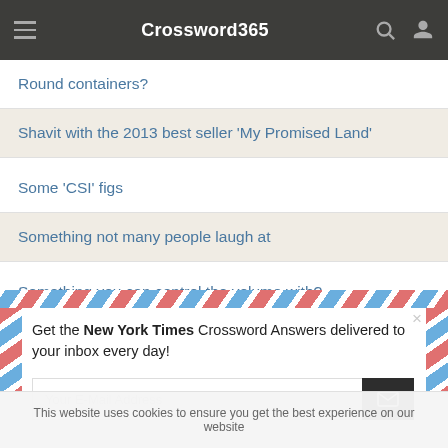Crossword365
Round containers?
Shavit with the 2013 best seller 'My Promised Land'
Some 'CSI' figs
Something not many people laugh at
Something you can control the volume with?
Get the New York Times Crossword Answers delivered to your inbox every day!
Your E-Mail Address
This website uses cookies to ensure you get the best experience on our website